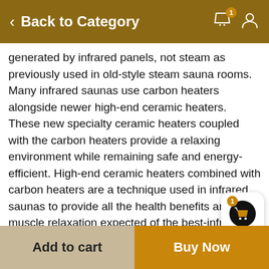Back to Category
generated by infrared panels, not steam as previously used in old-style steam sauna rooms. Many infrared saunas use carbon heaters alongside newer high-end ceramic heaters. These new specialty ceramic heaters coupled with the carbon heaters provide a relaxing environment while remaining safe and energy-efficient. High-end ceramic heaters combined with carbon heaters are a technique used in infrared saunas to provide all the health benefits and muscle relaxation expected of the best-infrared saunas. The new infrared process uses electromagnetic radiation as the heat source and effectively concentrates on the mass of the body not the air around it.  Infrared heat technology heats the body much more efficiently making it far more effective in releasing toxins and allowing your body to detox and replenish
Add to cart  |  Buy Now